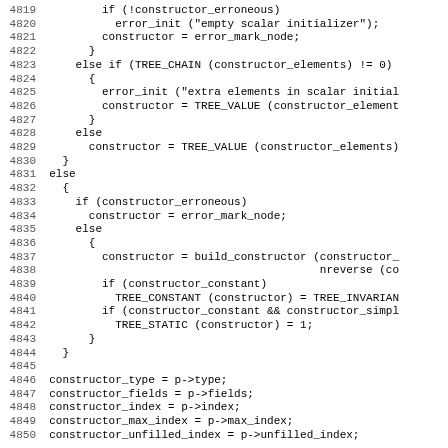Source code listing, lines 4819-4850, showing C code for constructor initialization logic